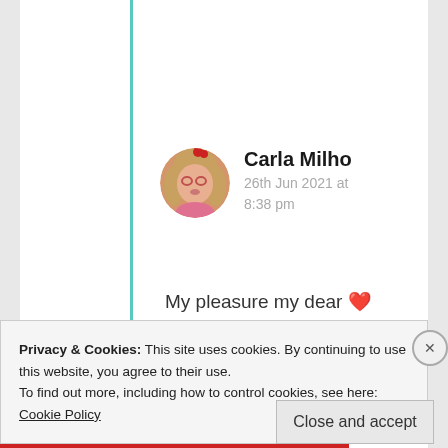Carla Milho
26th Jun 2021 at 8:38 pm
My pleasure my dear ❤ 💝💝❤😎
★ Liked by 1 person
Privacy & Cookies: This site uses cookies. By continuing to use this website, you agree to their use.
To find out more, including how to control cookies, see here: Cookie Policy
Close and accept